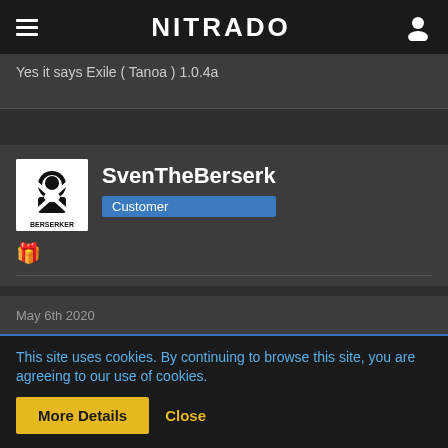NITRADO
Yes it says Exile ( Tanoa ) 1.0.4a
SvenTheBerserk
Customer
May 6th 2020
Ok that seems to be the correct version, hmm, strange one...if you scroll down that page can you see "restart mission" in green? try that then restart server
This site uses cookies. By continuing to browse this site, you are agreeing to our use of cookies.